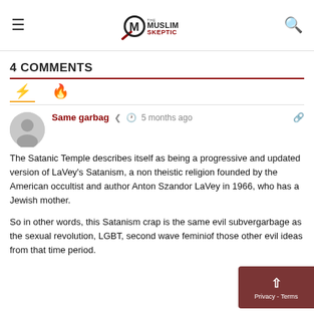The Muslim Skeptic
4 COMMENTS
The Satanic Temple describes itself as being a progressive and updated version of LaVey's Satanism, a non theistic religion founded by the American occultist and author Anton Szandor LaVey in 1966, who has a Jewish mother.
So in other words, this Satanism crap is the same evil subver... garbage as the sexual revolution, LGBT, second wave femini... of those other evil ideas from that time period.